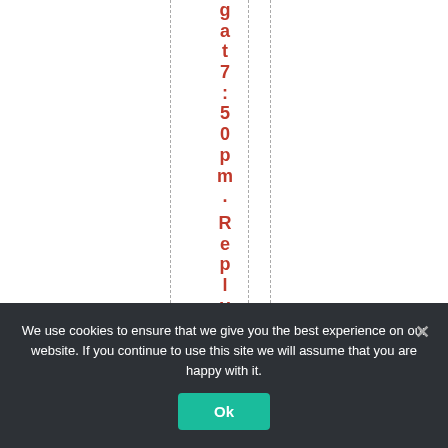g a t 7 : 5 0 p m . R e p l y [ ... ]
We use cookies to ensure that we give you the best experience on our website. If you continue to use this site we will assume that you are happy with it. Ok